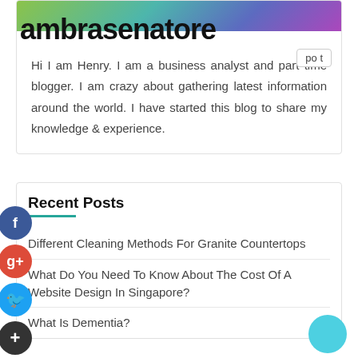[Figure (photo): Header image strip with colorful gradient and overlaid blog title 'ambrasenatore']
Hi I am Henry. I am a business analyst and part time blogger. I am crazy about gathering latest information around the world. I have started this blog to share my knowledge & experience.
Recent Posts
Different Cleaning Methods For Granite Countertops
What Do You Need To Know About The Cost Of A Website Design In Singapore?
What Is Dementia?